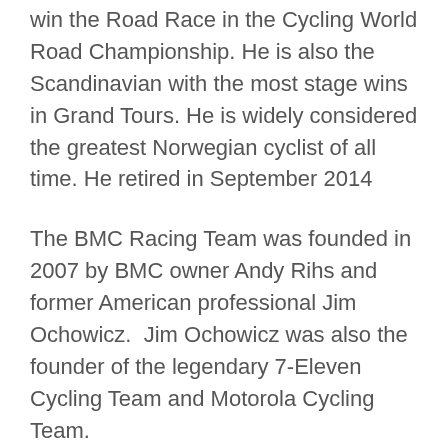win the Road Race in the Cycling World Road Championship. He is also the Scandinavian with the most stage wins in Grand Tours. He is widely considered the greatest Norwegian cyclist of all time. He retired in September 2014
The BMC Racing Team was founded in 2007 by BMC owner Andy Rihs and former American professional Jim Ochowicz.  Jim Ochowicz was also the founder of the legendary 7-Eleven Cycling Team and Motorola Cycling Team.
It pairs with t...